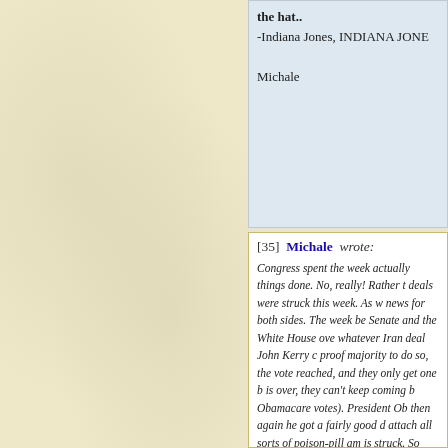the hat..
-Indiana Jones, INDIANA JONE

Michale
[35] Michale wrote:

Congress spent the week actually things done. No, really! Rather t deals were struck this week. As w news for both sides. The week be Senate and the White House ove whatever Iran deal John Kerry c proof majority to do so, the vote reached, and they only get one b is over, they can't keep coming b Obamacare votes). President Ob then again he got a fairly good d attach all sorts of poison-pill am is struck. So both sides got some

Which is EXACTLY how govern

This is EXACTLY what Obama

Work WITH Congress rather tha

As bitchy and moaning as the A